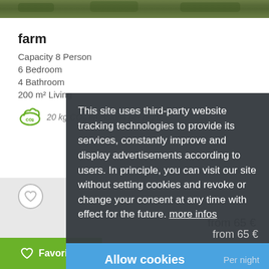[Figure (photo): Top portion of a farm property photo showing grass and outdoor area]
farm
Capacity 8 Person
6 Bedroom
4 Bathroom
200 m² Living
20 kg CO2 emissions per night
This site uses third-party website tracking technologies to provide its services, constantly improve and display advertisements according to users. In principle, you can visit our site without setting cookies and revoke or change your consent at any time with effect for the future. more infos
from 65 €
Allow cookies
Per night
Favorites